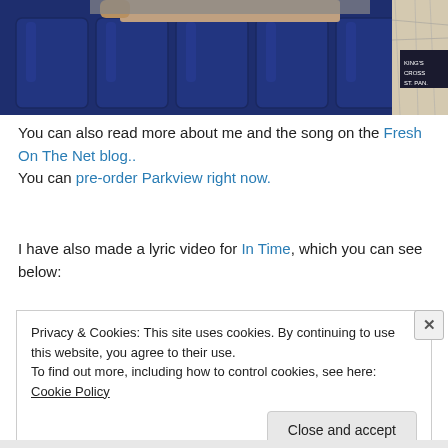[Figure (photo): Photo of a person leaning on dark navy blue cushioned seats/luggage, with a map visible on the right side.]
You can also read more about me and the song on the Fresh On The Net blog.. You can pre-order Parkview right now.
I have also made a lyric video for In Time, which you can see below:
Privacy & Cookies: This site uses cookies. By continuing to use this website, you agree to their use. To find out more, including how to control cookies, see here: Cookie Policy
Close and accept